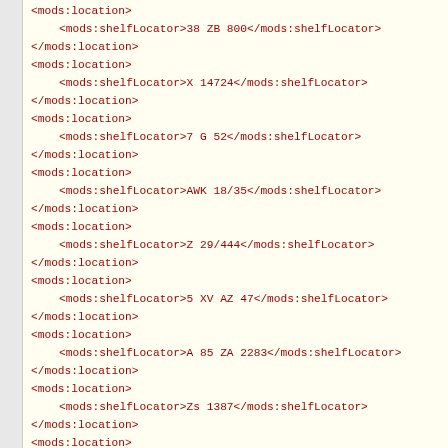<mods:location>
    <mods:shelfLocator>38 ZB 800</mods:shelfLocator>
</mods:location>
<mods:location>
    <mods:shelfLocator>X 14724</mods:shelfLocator>
</mods:location>
<mods:location>
    <mods:shelfLocator>7 G 52</mods:shelfLocator>
</mods:location>
<mods:location>
    <mods:shelfLocator>AWK 18/35</mods:shelfLocator>
</mods:location>
<mods:location>
    <mods:shelfLocator>Z 29/444</mods:shelfLocator>
</mods:location>
<mods:location>
    <mods:shelfLocator>5 XV AZ 47</mods:shelfLocator>
</mods:location>
<mods:location>
    <mods:shelfLocator>A 85 ZA 2283</mods:shelfLocator>
</mods:location>
<mods:location>
    <mods:shelfLocator>Zs 1387</mods:shelfLocator>
</mods:location>
<mods:location>
    <mods:shelfLocator>GLS 22434</mods:shelfLocator>
</mods:location>
<mods:location>
    <mods:shelfLocator>Kuc Ng 205</mods:shelfLocator>
</mods:location>
<mods:location>
    <mods:shelfLocator>XIV 17080</mods:shelfLocator>
</mods:location>
<mods:location>
    <mods:shelfLocator>A IV.125 Q</mods:shelfLocator>
</mods:location>
<mods:location>
    <mods:shelfLocator>Dt.Zs.364</mods:shelfLocator>
</mods:location>
<mods:location>
    <mods:shelfLocator>Z 5141</mods:shelfLocator>
</mods:location>
<mods:location>
    <mods:shelfLocator>Per. 692</mods:shelfLocator>
</mods:location>